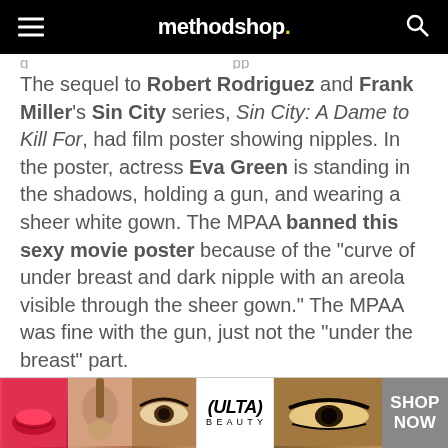methodshop.
The sequel to Robert Rodriguez and Frank Miller's Sin City series, Sin City: A Dame to Kill For, had film poster showing nipples. In the poster, actress Eva Green is standing in the shadows, holding a gun, and wearing a sheer white gown. The MPAA banned this sexy movie poster because of the “curve of under breast and dark nipple with an areola visible through the sheer gown.” The MPAA was fine with the gun, just not the “under the breast” part.
[Figure (photo): Advertisement banner with 'BID TO WIN!' diagonal ribbon on left and photo of dark-haired woman on right, with CLOSE button]
[Figure (photo): Bottom strip advertisement for ULTA beauty featuring makeup product photos and SHOP NOW button]